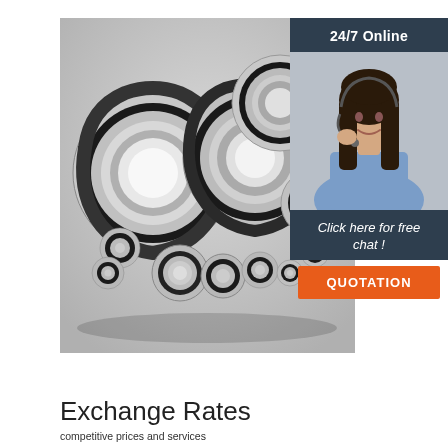[Figure (photo): Collection of various sized metal ball bearings and bearing rings arranged on a light grey background, ranging from large to small sizes.]
[Figure (photo): Customer service representative woman wearing a headset and blue shirt, smiling, with '24/7 Online' header above and 'Click here for free chat!' text and orange QUOTATION button below, all on dark navy background.]
Exchange Rates
competitive prices and services